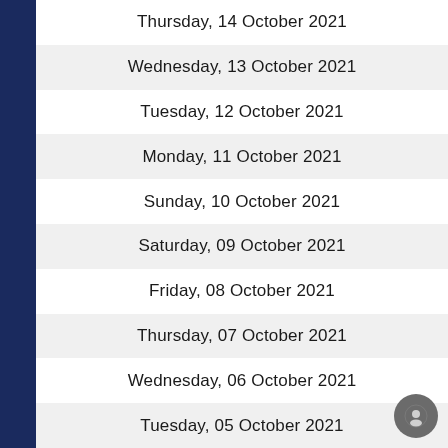Thursday, 14 October 2021
Wednesday, 13 October 2021
Tuesday, 12 October 2021
Monday, 11 October 2021
Sunday, 10 October 2021
Saturday, 09 October 2021
Friday, 08 October 2021
Thursday, 07 October 2021
Wednesday, 06 October 2021
Tuesday, 05 October 2021